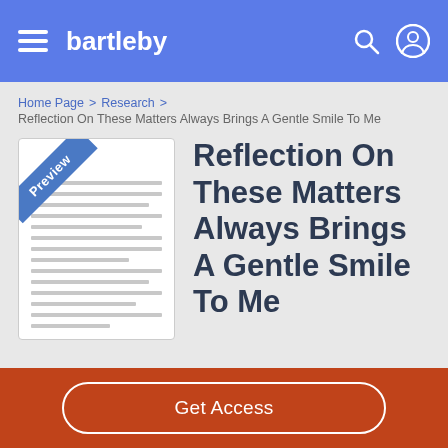bartleby
Home Page > Research > Reflection On These Matters Always Brings A Gentle Smile To Me
Reflection On These Matters Always Brings A Gentle Smile To Me
[Figure (illustration): Document preview thumbnail with a blue diagonal 'Preview' ribbon banner in the top-left corner and horizontal lines representing text content]
Get Access